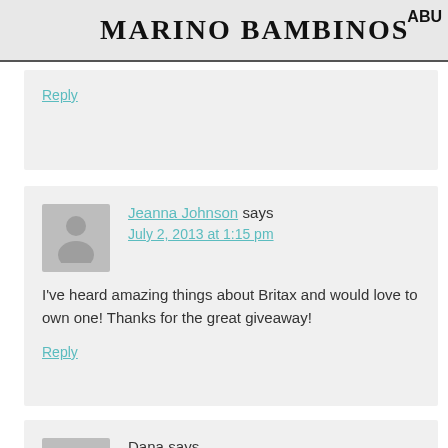MARINO BAMBINOS
Reply
Jeanna Johnson says
July 2, 2013 at 1:15 pm
I've heard amazing things about Britax and would love to own one! Thanks for the great giveaway!
Reply
Dana says
July 2, 2013 at 3:11 pm